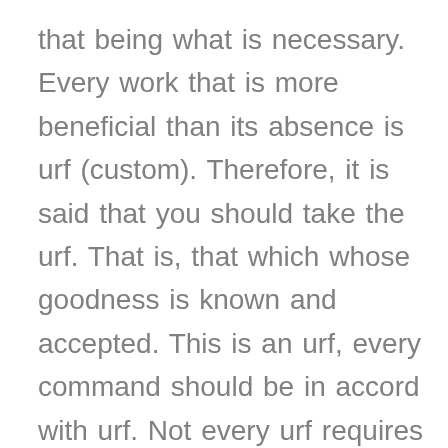that being what is necessary. Every work that is more beneficial than its absence is urf (custom). Therefore, it is said that you should take the urf. That is, that which whose goodness is known and accepted. This is an urf, every command should be in accord with urf. Not every urf requires a command, and not every custom is urf. One should be able to distinguish between right and wrong. One should be able to distinguish between what is beneficial and harmful, and notice the difference between haqq (right) and batil